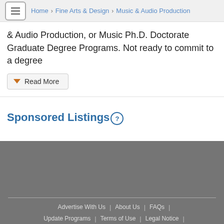Home > Fine Arts & Design > Music & Audio Production
& Audio Production, or Music Ph.D. Doctorate Graduate Degree Programs. Not ready to commit to a degree
Read More
Sponsored Listings
Advertise With Us | About Us | FAQs | Update Programs | Terms of Use | Legal Notice |